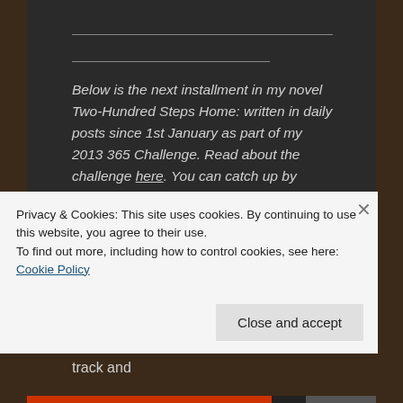Below is the next installment in my novel Two-Hundred Steps Home: written in daily posts since 1st January as part of my 2013 365 Challenge. Read about the challenge here. You can catch up by downloading the free ebook volumes on the right hand side of the blog:
Claire inhaled the muggy scent of damp track and
Privacy & Cookies: This site uses cookies. By continuing to use this website, you agree to their use.
To find out more, including how to control cookies, see here: Cookie Policy